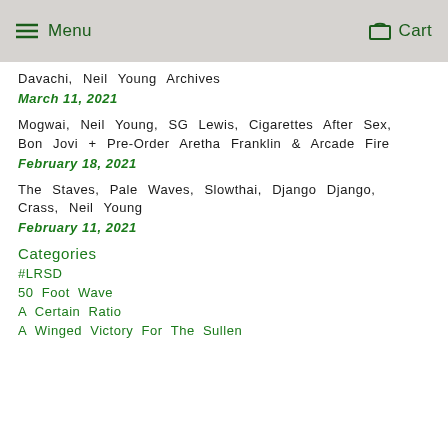Menu   Cart
Davachi, Neil Young Archives
March 11, 2021
Mogwai, Neil Young, SG Lewis, Cigarettes After Sex, Bon Jovi + Pre-Order Aretha Franklin & Arcade Fire
February 18, 2021
The Staves, Pale Waves, Slowthai, Django Django, Crass, Neil Young
February 11, 2021
Categories
#LRSD
50 Foot Wave
A Certain Ratio
A Winged Victory For The Sullen